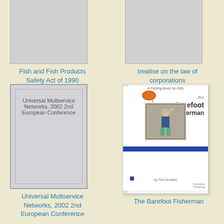[Figure (illustration): Book cover placeholder (gray rectangle) for Fish and Fish Products Safety Act of 1990]
Fish and Fish Products Safety Act of 1990
[Figure (illustration): Book cover placeholder (gray rectangle) for treatise on the law of corporations]
treatise on the law of corporations
[Figure (illustration): Gray book cover with inner border, text: Universal Multservice Networks, 2002 2nd European Conference]
Universal Multservice Networks, 2002 2nd European Conference
[Figure (illustration): The Barefoot Fisherman book cover with fishing fly illustration, title text, photo of child holding fish, blue stripe, by Paul Amdahl, Clearwater Publishing]
The Barefoot Fisherman